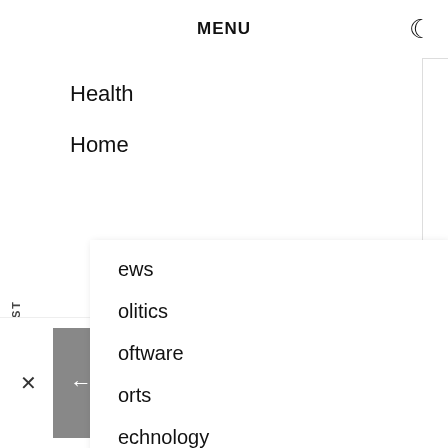MENU
Health
Home
ews
olitics
oftware
orts
echnology
ncategorized
PREVIOUS POST
NEXT POST
The Judiciary Of Trinidad And Tobago